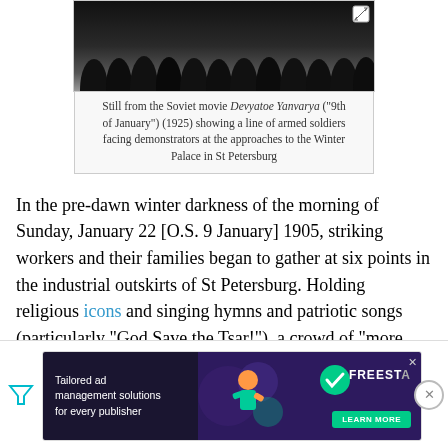[Figure (photo): Black and white still from the Soviet movie Devyatoe Yanvarya showing a line of armed soldiers facing demonstrators]
Still from the Soviet movie Devyatoe Yanvarya ("9th of January") (1925) showing a line of armed soldiers facing demonstrators at the approaches to the Winter Palace in St Petersburg
In the pre-dawn winter darkness of the morning of Sunday, January 22 [O.S. 9 January] 1905, striking workers and their families began to gather at six points in the industrial outskirts of St Petersburg. Holding religious icons and singing hymns and patriotic songs (particularly "God Save the Tsar!"), a crowd of "more than 3,000"[20] proceeded without police interference towards the Winter Palace, the Tsar's official residence. The crowd, whose mood was quiet, did not carry weapons or revolutionary banners. Insofar as there was any political configuration for the various columns of marchers to converge in front of the
[Figure (screenshot): Advertisement for Freestar tailored ad management solutions for every publisher]